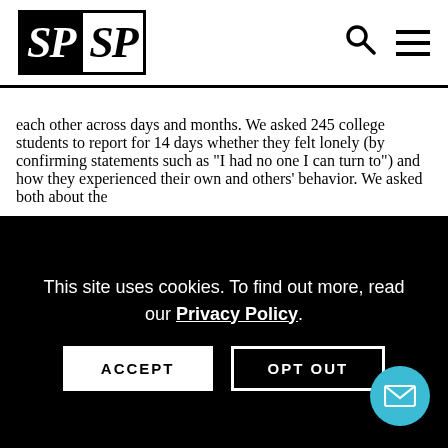SPSP
each other across days and months. We asked 245 college students to report for 14 days whether they felt lonely (by confirming statements such as "I had no one I can turn to") and how they experienced their own and others' behavior. We asked both about the
This site uses cookies. To find out more, read our Privacy Policy.
ACCEPT
OPT OUT